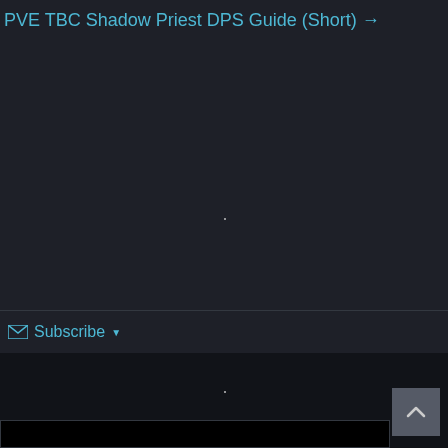PVE TBC Shadow Priest DPS Guide (Short) →
[Figure (screenshot): Dark background content area, mostly empty with a faint dot in the center]
✉ Subscribe ▼
[Figure (screenshot): Dark bottom bar with a scroll-to-top button (chevron up icon) on the right side and a dark input bar along the bottom]